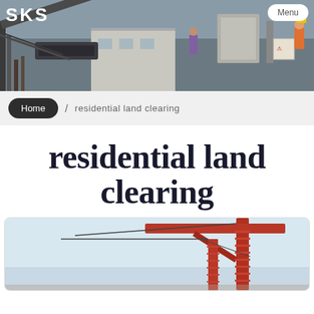[Figure (photo): Industrial/construction site header image showing machinery, equipment, conveyor belts, workers in high-vis gear, with SKS logo top-left and Menu button top-right]
Home / residential land clearing
residential land clearing
[Figure (photo): Partial photo of red crane/scaffolding structure against light blue sky, inside a rounded card]